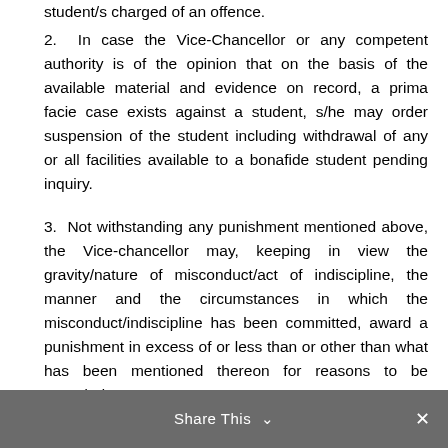student/s charged of an offence.
2. In case the Vice-Chancellor or any competent authority is of the opinion that on the basis of the available material and evidence on record, a prima facie case exists against a student, s/he may order suspension of the student including withdrawal of any or all facilities available to a bonafide student pending inquiry.
3. Not withstanding any punishment mentioned above, the Vice-chancellor may, keeping in view the gravity/nature of misconduct/act of indiscipline, the manner and the circumstances in which the misconduct/indiscipline has been committed, award a punishment in excess of or less than or other than what has been mentioned thereon for reasons to be recorded.
4. The office of the Chief Proctor shall immediately report its decision to all the officials concerned for
Share This ∨ ✕